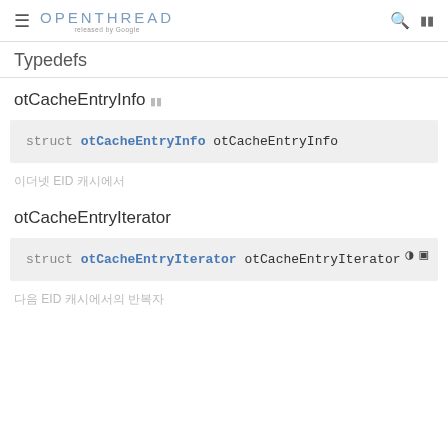OPENTHREAD released by Google
Typedefs
otCacheEntryInfo
struct otCacheEntryInfo otCacheEntryInfo
[Korean text] EID [Korean text]
otCacheEntryIterator
struct otCacheEntryIterator otCacheEntryIterator
[Korean text] EID [Korean text]